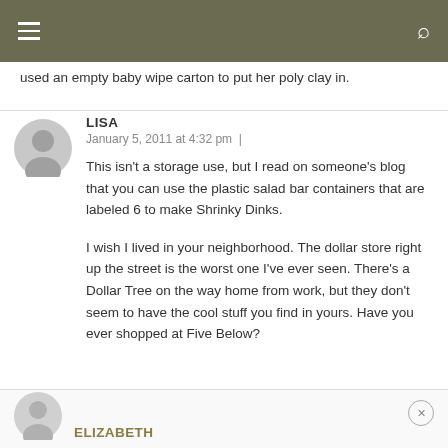Navigation bar with menu and search icons
used an empty baby wipe carton to put her poly clay in.
LISA
January 5, 2011 at 4:32 pm
This isn't a storage use, but I read on someone's blog that you can use the plastic salad bar containers that are labeled 6 to make Shrinky Dinks.
I wish I lived in your neighborhood. The dollar store right up the street is the worst one I've ever seen. There's a Dollar Tree on the way home from work, but they don't seem to have the cool stuff you find in yours. Have you ever shopped at Five Below?
ELIZABETH